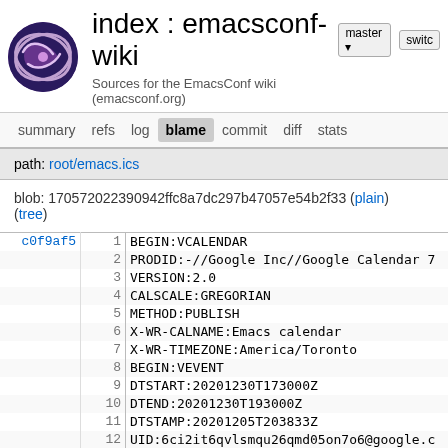index : emacsconf-wiki — Sources for the EmacsConf wiki (emacsconf.org)
summary   refs   log   blame   commit   diff   stats
path: root/emacs.ics
blob: 170572022390942ffc8a7dc297b47057e54b2f33 (plain)
(tree)
| commit | line | code |
| --- | --- | --- |
| c0f9af5 | 1 | BEGIN:VCALENDAR |
|  | 2 | PRODID:-//Google Inc//Google Calendar 7 |
|  | 3 | VERSION:2.0 |
|  | 4 | CALSCALE:GREGORIAN |
|  | 5 | METHOD:PUBLISH |
|  | 6 | X-WR-CALNAME:Emacs calendar |
|  | 7 | X-WR-TIMEZONE:America/Toronto |
|  | 8 | BEGIN:VEVENT |
|  | 9 | DTSTART:20201230T173000Z |
|  | 10 | DTEND:20201230T193000Z |
|  | 11 | DTSTAMP:20201205T203833Z |
|  | 12 | UID:6ci2it6qvlsmqu26qmd05on7o6@google.c |
|  | 13 | CREATED:20201202T183231Z |
|  | 14 | DESCRIPTION:<p><a href="https://emacs-b |
|  | 15 |   rue">https://emacs-berlin.org/</a></p |
|  | 16 | Wednesday), December 29th), different |